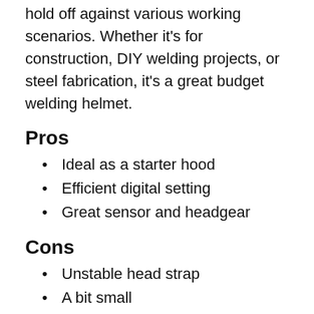hold off against various working scenarios. Whether it's for construction, DIY welding projects, or steel fabrication, it's a great budget welding helmet.
Pros
Ideal as a starter hood
Efficient digital setting
Great sensor and headgear
Cons
Unstable head strap
A bit small
6. ESAB Sentinal Welding Helmet